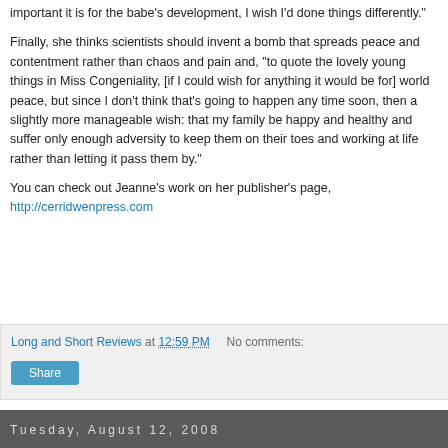important it is for the babe's development, I wish I'd done things differently."

Finally, she thinks scientists should invent a bomb that spreads peace and contentment rather than chaos and pain and, "to quote the lovely young things in Miss Congeniality, [if I could wish for anything it would be for] world peace, but since I don't think that's going to happen any time soon, then a slightly more manageable wish: that my family be happy and healthy and suffer only enough adversity to keep them on their toes and working at life rather than letting it pass them by."

You can check out Jeanne's work on her publisher's page, http://cerridwenpress.com
Long and Short Reviews at 12:59 PM   No comments:
Share
Tuesday, August 12, 2008